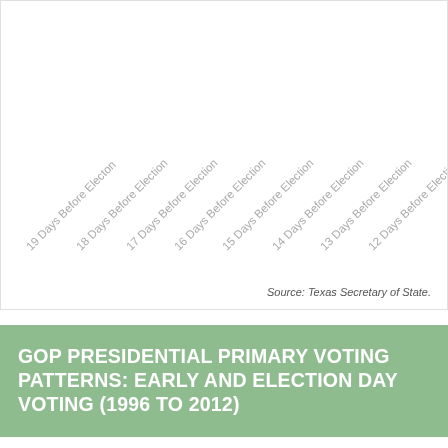[Figure (other): Top portion of a chart with rotated x-axis labels showing days before election (12 to 19 days before election). Source: Texas Secretary of State.]
Source: Texas Secretary of State.
GOP PRESIDENTIAL PRIMARY VOTING PATTERNS: EARLY AND ELECTION DAY VOTING (1996 TO 2012)
[Figure (bar-chart): Bar chart showing GOP presidential primary voting patterns from 1996 to 2012. Y-axis shows values up to 1,250k. Bars visible at bottom of page representing different election years.]